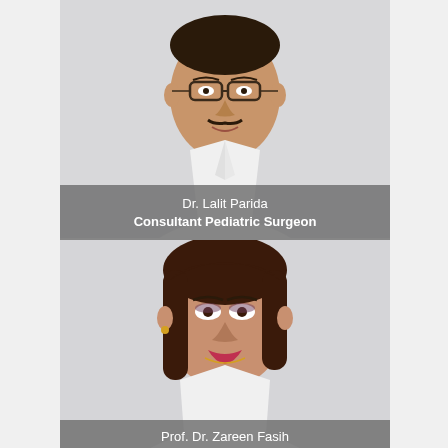[Figure (photo): Portrait photo of Dr. Lalit Parida, a male doctor wearing glasses and a white lab coat with a dark tie, light gray background]
Dr. Lalit Parida
Consultant Pediatric Surgeon
[Figure (photo): Portrait photo of Prof. Dr. Zareen Fasih, a female doctor with long brown hair wearing a white lab coat over a pink top, light gray background]
Prof. Dr. Zareen Fasih
Consultant Neonatologist